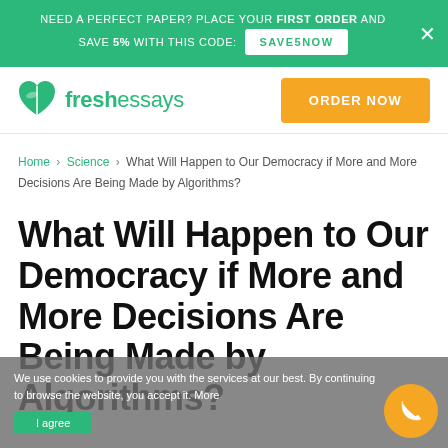NEED A PERFECT PAPER? PLACE YOUR FIRST ORDER AND SAVE 5% WITH THIS CODE: SAVE5NOW
[Figure (logo): FreshEssays logo with green open book icon and text 'freshessays', plus orange ORDER NOW button]
Home › Science › What Will Happen to Our Democracy if More and More Decisions Are Being Made by Algorithms?
What Will Happen to Our Democracy if More and More Decisions Are Being Made by Algorithms?
We use cookies to provide you with the services at our best. By continuing to browse the website, you accept it. More
I agree